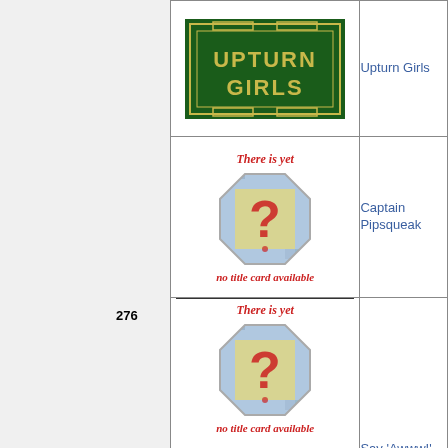[Figure (logo): Upturn Girls logo on dark green background with yellow/gold art-deco style lettering]
Upturn Girls
[Figure (illustration): No title card available placeholder image with 'There is yet' text in red italic, question mark octagon graphic, and 'no title card available' text in red italic]
Captain Pipsqueak
276
[Figure (illustration): No title card available placeholder image with 'There is yet' text in red italic, question mark octagon graphic, and 'no title card available' text in red italic]
Say 'Awww!'